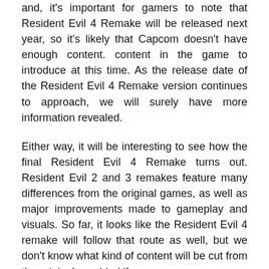and, it's important for gamers to note that Resident Evil 4 Remake will be released next year, so it's likely that Capcom doesn't have enough content. content in the game to introduce at this time. As the release date of the Resident Evil 4 Remake version continues to approach, we will surely have more information revealed.
Either way, it will be interesting to see how the final Resident Evil 4 Remake turns out. Resident Evil 2 and 3 remakes feature many differences from the original games, as well as major improvements made to gameplay and visuals. So far, it looks like the Resident Evil 4 remake will follow that route as well, but we don't know what kind of content will be cut from the original or added if any.
See also: Minecraft Legends – Minecraft strategy game version announced and will be released next year